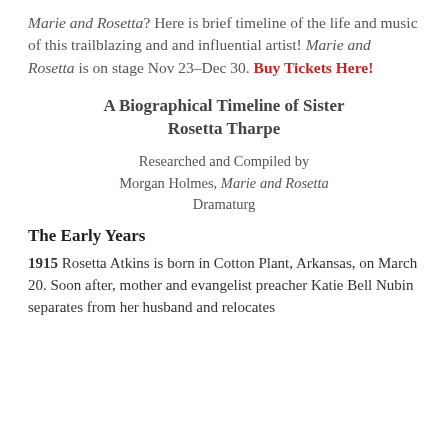Marie and Rosetta? Here is brief timeline of the life and music of this trailblazing and and influential artist! Marie and Rosetta is on stage Nov 23–Dec 30. Buy Tickets Here!
A Biographical Timeline of Sister Rosetta Tharpe
Researched and Compiled by Morgan Holmes, Marie and Rosetta Dramaturg
The Early Years
1915 Rosetta Atkins is born in Cotton Plant, Arkansas, on March 20. Soon after, mother and evangelist preacher Katie Bell Nubin separates from her husband and relocates...